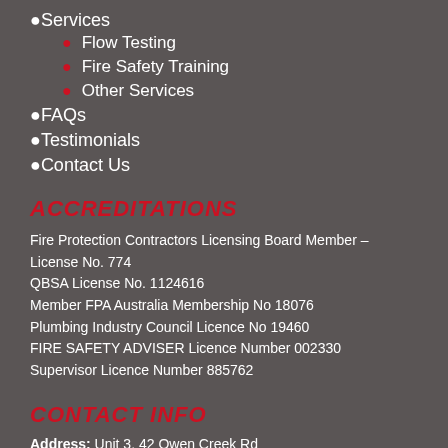Services
Flow Testing
Fire Safety Training
Other Services
FAQs
Testimonials
Contact Us
ACCREDITATIONS
Fire Protection Contractors Licensing Board Member – License No. 774
QBSA License No. 1124616
Member FPA Australia Membership No 18076
Plumbing Industry Council Licence No 19460
FIRE SAFETY ADVISER Licence Number 002330
Supervisor Licence Number 885762
CONTACT INFO
Address: Unit 3, 42 Owen Creek Rd Forest Glen QLD 4556